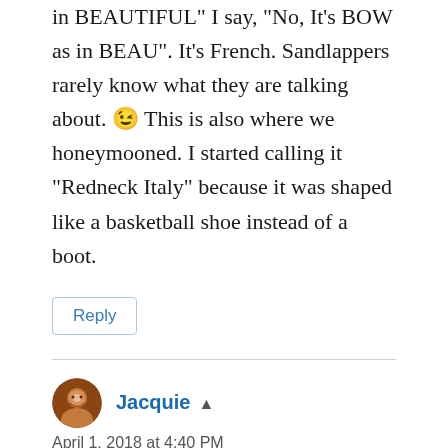in BEAUTIFUL" I say, "No, It's BOW as in BEAU". It's French. Sandlappers rarely know what they are talking about. 😉 This is also where we honeymooned. I started calling it "Redneck Italy" because it was shaped like a basketball shoe instead of a boot.
Reply
Jacquie ▲
April 1, 2018 at 4:40 PM
We had booked for a week and then extended the reservation for 4 more nights – it was that great! The BEW/BEAU is more confusing